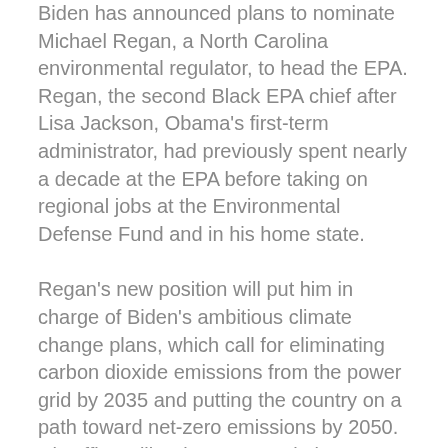Biden has announced plans to nominate Michael Regan, a North Carolina environmental regulator, to head the EPA. Regan, the second Black EPA chief after Lisa Jackson, Obama's first-term administrator, had previously spent nearly a decade at the EPA before taking on regional jobs at the Environmental Defense Fund and in his home state.
Regan's new position will put him in charge of Biden's ambitious climate change plans, which call for eliminating carbon dioxide emissions from the power grid by 2035 and putting the country on a path toward net-zero emissions by 2050. His office will re-impose regulations eliminated by the Trump EPA, extending expansive reaches into energy, farming, manufacturing and transportation sectors.
Former South Bend, Indiana mayor and Democratic presidential candidate Pete Buttigieg has been nominated to be Biden's transportation secretary.